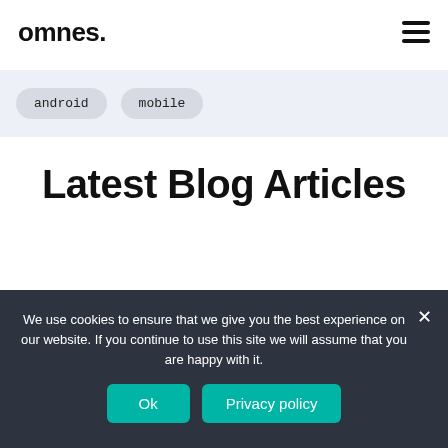omnes.
android
mobile
Latest Blog Articles
We use cookies to ensure that we give you the best experience on our website. If you continue to use this site we will assume that you are happy with it.